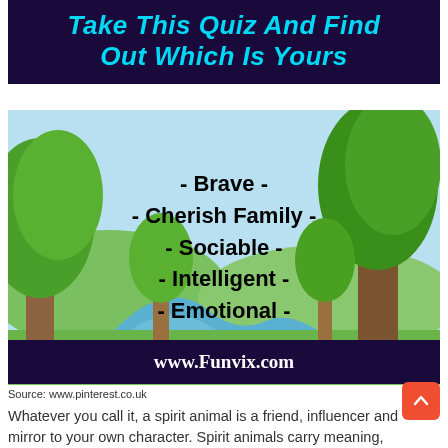Take This Quiz And Find Out Which Is Yours
[Figure (illustration): Cartoon nature scene with trees, a river/stream, green grass and hills, with text overlays listing traits: - Brave -, - Cherish Family -, - Sociable -, - Intelligent -, - Emotional -, and a footer URL bar reading www.Funvix.com]
Source: www.pinterest.co.uk
Whatever you call it, a spirit animal is a friend, influencer and mirror to your own character. Spirit animals carry meaning, wisdom, and power.